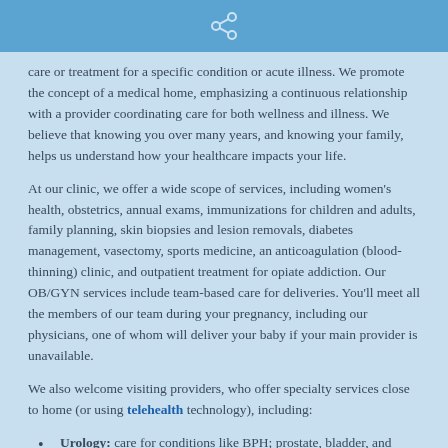(share icon)
care or treatment for a specific condition or acute illness. We promote the concept of a medical home, emphasizing a continuous relationship with a provider coordinating care for both wellness and illness. We believe that knowing you over many years, and knowing your family, helps us understand how your healthcare impacts your life.
At our clinic, we offer a wide scope of services, including women's health, obstetrics, annual exams, immunizations for children and adults, family planning, skin biopsies and lesion removals, diabetes management, vasectomy, sports medicine, an anticoagulation (blood-thinning) clinic, and outpatient treatment for opiate addiction. Our OB/GYN services include team-based care for deliveries. You'll meet all the members of our team during your pregnancy, including our physicians, one of whom will deliver your baby if your main provider is unavailable.
We also welcome visiting providers, who offer specialty services close to home (or using telehealth technology), including:
Urology: care for conditions like BPH; prostate, bladder, and kidney cancer; kidney stones; erectile dysfunction; incontinence; and male infertility; as well as procedures such